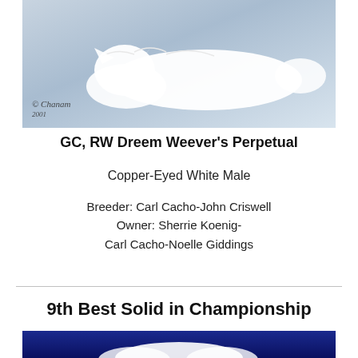[Figure (photo): A white long-haired cat lying on a blue-gray surface, photographed from above. Watermark reads '© Chanam 2001' in cursive at bottom left.]
GC, RW Dreem Weever's Perpetual
Copper-Eyed White Male
Breeder: Carl Cacho-John Criswell
Owner: Sherrie Koenig-
Carl Cacho-Noelle Giddings
9th Best Solid in Championship
[Figure (photo): A white fluffy cat photographed against a deep blue background, cropped to show the top of the head and fur.]